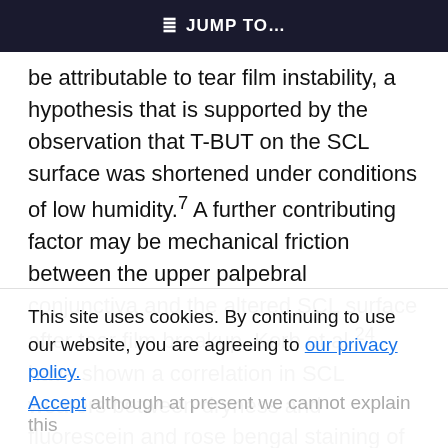≡D JUMP TO…
be attributable to tear film instability, a hypothesis that is supported by the observation that T-BUT on the SCL surface was shortened under conditions of low humidity.⁷ A further contributing factor may be mechanical friction between the upper palpebral conjunctiva and the altered SCL surface after tear film breakup. Korb et al.²⁴ have shown a correlation in SCL wearers between dryness and fluorescein and rose bengal staining of the upper lid margin. This stained lesion is called lid-wiper epitheliopathy. We found that dryness was significantly worse in the SCL
This site uses cookies. By continuing to use our website, you are agreeing to our privacy policy. Accept although at present we cannot explain this